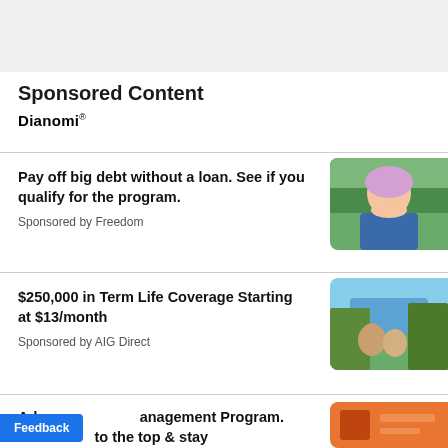Sponsored Content
Dianomi
Pay off big debt without a loan. See if you qualify for the program.
Sponsored by Freedom
[Figure (photo): Photo of a smiling middle-aged woman with silver/lavender hair wearing a blue top and denim jacket, outdoors with green foliage background]
$250,000 in Term Life Coverage Starting at $13/month
Sponsored by AIG Direct
[Figure (photo): Photo of a couple embracing outdoors near a mountain lake with blue sky and green trees]
Ad... Management Program. Le... to the top & stay
[Figure (photo): Orange/red colored image thumbnail for third sponsored ad]